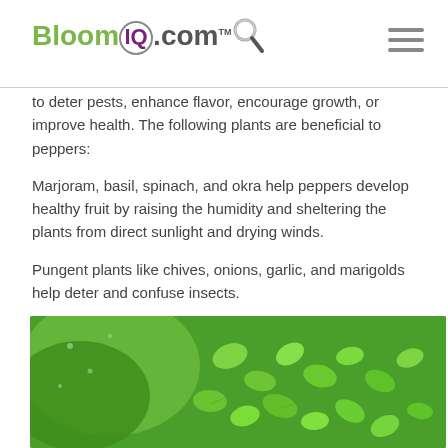BloomIQ.com
to deter pests, enhance flavor, encourage growth, or improve health. The following plants are beneficial to peppers:
Marjoram, basil, spinach, and okra help peppers develop healthy fruit by raising the humidity and sheltering the plants from direct sunlight and drying winds.
Pungent plants like chives, onions, garlic, and marigolds help deter and confuse insects.
[Figure (photo): Close-up photograph of green herb plants (marjoram or basil) with bright green dense leaves]